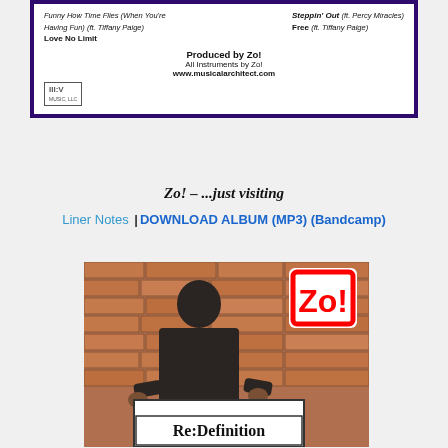[Figure (other): Top album liner card with white background and dark purple border. Left column lists tracks: 'Funny How Time Flies (When You're Having Fun) (ft. Tiffany Paige)' and 'Love No Limit'. Right column: 'Steppin' Out (ft. Percy Miracles)' and 'Free (ft. Tiffany Paige)'. Center bottom: 'Produced by Zo! / All Instruments by Zo! / www.musicalarchitect.com' with III:V label logo on left.]
Zo! – ...just visiting
Liner Notes | DOWNLOAD ALBUM (MP3) (Bandcamp)
[Figure (photo): Photo of a man standing in front of a brick wall, holding a white sign that reads 'Re:Definition'. A red-bordered 'Zo!' logo box appears in the top right corner of the photo.]